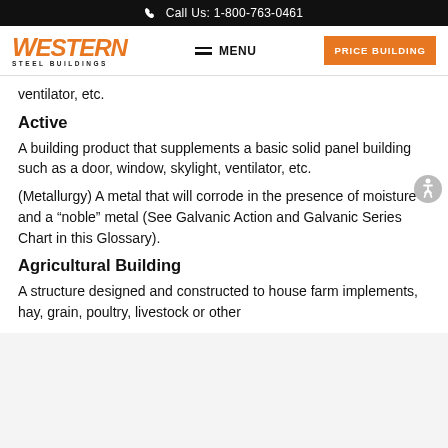Call Us: 1-800-763-0461
[Figure (logo): Western Steel Buildings logo with orange text and hamburger menu, plus orange Price Building button]
ventilator, etc.
Active
A building product that supplements a basic solid panel building such as a door, window, skylight, ventilator, etc.
(Metallurgy) A metal that will corrode in the presence of moisture and a “noble” metal (See Galvanic Action and Galvanic Series Chart in this Glossary).
Agricultural Building
A structure designed and constructed to house farm implements, hay, grain, poultry, livestock or other